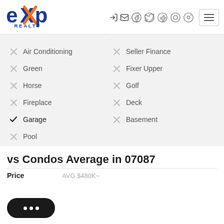[Figure (logo): eXp Realty logo in blue and orange]
× Air Conditioning
× Seller Finance
× Green
× Fixer Upper
× Horse
× Golf
× Fireplace
× Deck
✓ Garage
× Basement
× Pool
vs Condos Average in 07087
Price   AVG $480K~